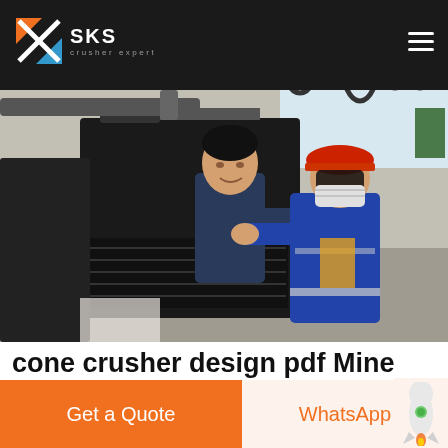SKS crusher expert
[Figure (photo): Two workers in an industrial workshop operating heavy machinery. One worker wears a red hard hat, blue coveralls, and a face mask. The other worker is in a dark jacket. Industrial equipment and cables are visible in the background.]
cone crusher design pdf Mine EquipmentsPF SERIES IMPACT CRUSHER
Get a Quote
WhatsApp